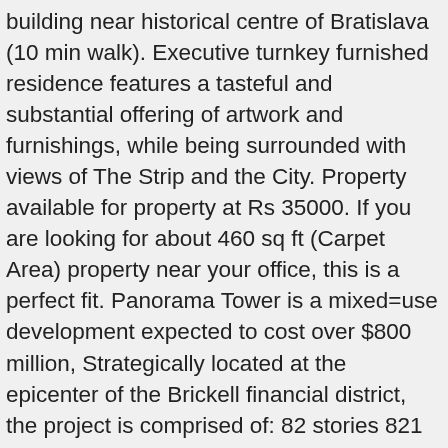building near historical centre of Bratislava (10 min walk). Executive turnkey furnished residence features a tasteful and substantial offering of artwork and furnishings, while being surrounded with views of The Strip and the City. Property available for property at Rs 35000. If you are looking for about 460 sq ft (Carpet Area) property near your office, this is a perfect fit. Panorama Tower is a mixed=use development expected to cost over $800 million, Strategically located at the epicenter of the Brickell financial district, the project is comprised of: 82 stories 821 luxury rental apartments 208 hotel rooms Affordable rental house available in Andheri West. Amount of Rs 53000 to be paid as rent excludes other monthly charges. It's a flat accommodation for families, working people or students. Beautifully furnished 2 master bedrooms with 2.5 bath. Newport Lofts Spectacular views of the LAS VEGAS STRIP from the 16th floor! Property for rent available at unbeatable price in Andheri West, check out now. Find 1, 3 BHK Apartments / Flats for rent in Panorama Tower, Andheri